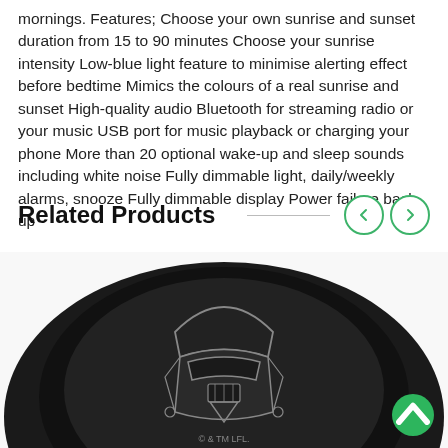mornings. Features; Choose your own sunrise and sunset duration from 15 to 90 minutes Choose your sunrise intensity Low-blue light feature to minimise alerting effect before bedtime Mimics the colours of a real sunrise and sunset High-quality audio Bluetooth for streaming radio or your music USB port for music playback or charging your phone More than 20 optional wake-up and sleep sounds including white noise Fully dimmable light, daily/weekly alarms, snooze Fully dimmable display Power failure back-up
Related Products
[Figure (photo): Close-up photo of a black circular product (likely a wireless charger or speaker) with a Darth Vader helmet illustration engraved or printed on it. The product is black with grey line art. Text reads '© & TM LFL.' at the bottom.]